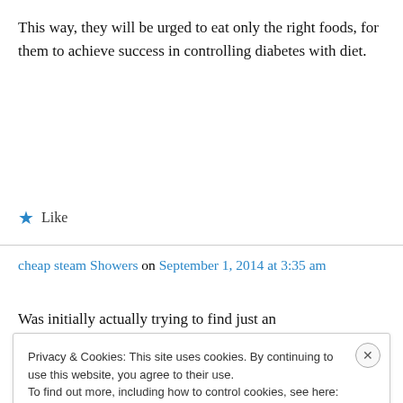This way, they will be urged to eat only the right foods, for them to achieve success in controlling diabetes with diet.
★ Like
cheap steam Showers on September 1, 2014 at 3:35 am
Was initially actually trying to find just an
Privacy & Cookies: This site uses cookies. By continuing to use this website, you agree to their use.
To find out more, including how to control cookies, see here: Cookie Policy
Close and accept